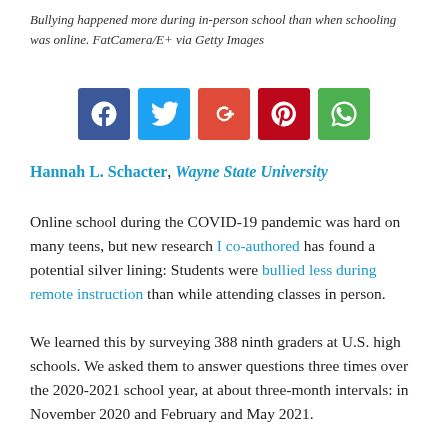Bullying happened more during in-person school than when schooling was online. FatCamera/E+ via Getty Images
[Figure (other): Social media share buttons: Facebook, Twitter, Google+, Pinterest, WhatsApp]
Hannah L. Schacter, Wayne State University
Online school during the COVID-19 pandemic was hard on many teens, but new research I co-authored has found a potential silver lining: Students were bullied less during remote instruction than while attending classes in person.
We learned this by surveying 388 ninth graders at U.S. high schools. We asked them to answer questions three times over the 2020-2021 school year, at about three-month intervals: in November 2020 and February and May 2021.